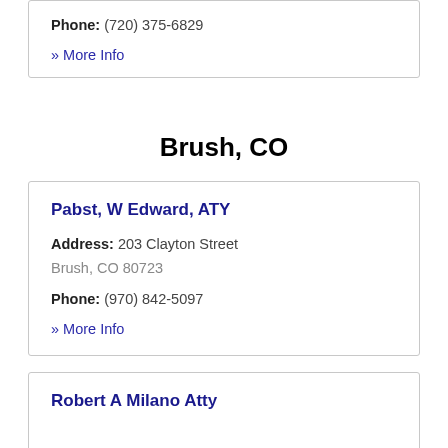Phone: (720) 375-6829
» More Info
Brush, CO
Pabst, W Edward, ATY
Address: 203 Clayton Street Brush, CO 80723
Phone: (970) 842-5097
» More Info
Robert A Milano Atty